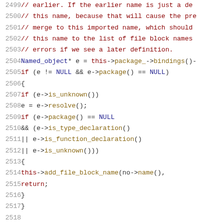[Figure (screenshot): Source code viewer showing lines 2499-2520 of a C++ file. Left column contains line numbers in gray, right column contains syntax-highlighted code. Comments are in dark red, keywords in dark red, type names and identifiers in dark blue, function calls in dark gold/olive.]